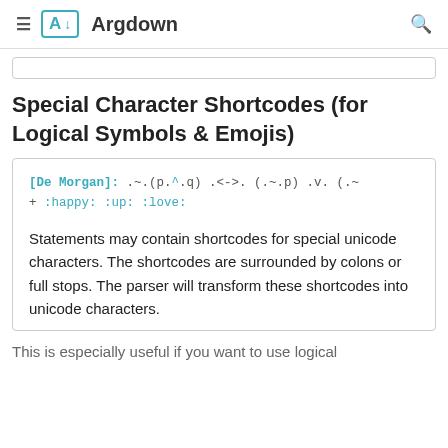≡  A↓  Argdown   🔍
Special Character Shortcodes (for Logical Symbols & Emojis)
[Figure (screenshot): Code box showing Argdown syntax: [De Morgan]: .~.(p.^.q) .<->. (.~.p) .v. (.~ followed by + :happy: :up: :love: with a description text about unicode shortcodes]
This is especially useful if you want to use logical